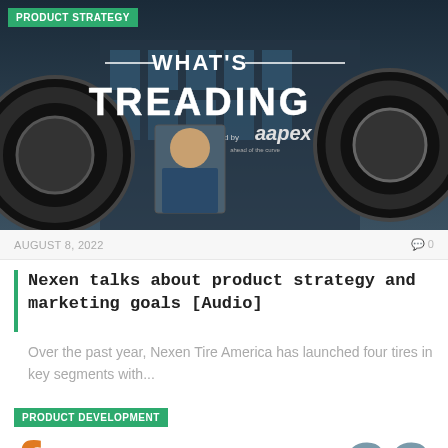[Figure (photo): What's Treading podcast cover image sponsored by aapex, showing two tires and a man's headshot against a building background]
PRODUCT STRATEGY
AUGUST 8, 2022
0
Nexen talks about product strategy and marketing goals [Audio]
Over the past year, Nexen Tire America has launched four tires in key segments with...
PRODUCT DEVELOPMENT
from 99